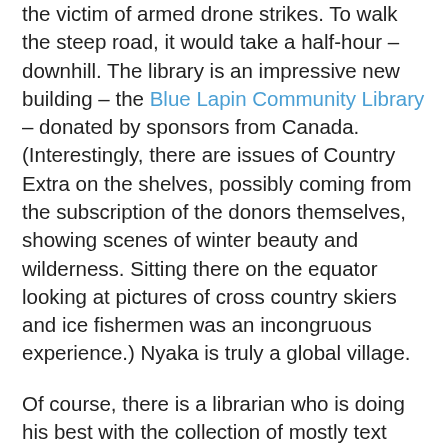the victim of armed drone strikes.  To walk the steep road, it would take a half-hour – downhill.  The library is an impressive new building – the Blue Lapin Community Library – donated by sponsors from Canada.  (Interestingly, there are issues of Country Extra on the shelves, possibly coming from the subscription of the donors themselves, showing scenes of winter beauty and wilderness.  Sitting there on the equator looking at pictures of cross country skiers and ice fishermen was an incongruous experience.)  Nyaka is truly a global village.
Of course, there is a librarian who is doing his best with the collection of mostly text books and second hand and dated periodicals.  Jane Austin is nowhere to be found, and all books have to be read on site, I imagine greatly limiting readability of most of the material.  Students frequent the library on holidays.  The librarian said he could use an encyclopedia, and immediately I had a flashback to the days I was growing up without the internet or Wikipedia, and said to myself, “Of course!!.”  And what a grantable wish!
Across the U-shaped building from the library are the